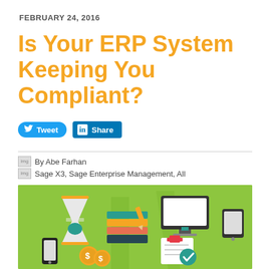FEBRUARY 24, 2016
Is Your ERP System Keeping You Compliant?
[Figure (other): Tweet and LinkedIn Share social media buttons]
By Abe Farhan
Sage X3, Sage Enterprise Management, All
[Figure (illustration): Flat design illustration on green background showing business technology icons: hourglass, stacked books/files, desktop monitor, smartphone, tablet, dollar coins, document with checkmark]